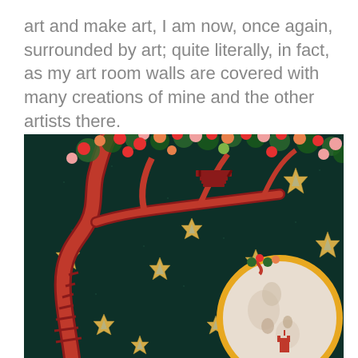art and make art, I am now, once again, surrounded by art; quite literally, in fact, as my art room walls are covered with many creations of mine and the other artists there.
[Figure (illustration): A colorful folk-art style painting depicting a dark teal/black night sky background filled with gold and silver six-pointed stars. A large red tree with winding branches dominates the left side, with a red staircase spiraling around the trunk. The tree has colorful round fruits/leaves in red, green, orange, and pink at the top. A red wooden chair or lounge chair sits on a branch. In the lower right, a large circular moon or medallion with an orange border shows a pale/white scene with figures and a small red castle or tower. Additional tree branches with colorful fruits extend into the upper right corner.]